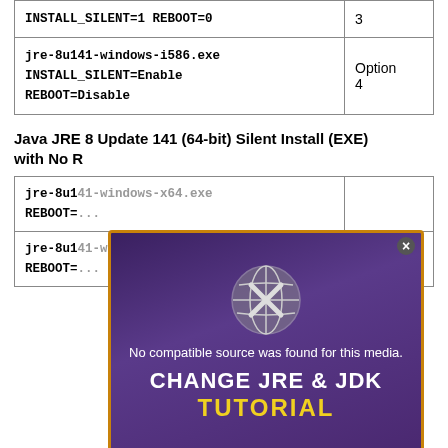| Command | Option |
| --- | --- |
| INSTALL_SILENT=1 REBOOT=0 | 3 |
| jre-8u141-windows-i586.exe
INSTALL_SILENT=Enable
REBOOT=Disable | Option 4 |
Java JRE 8 Update 141 (64-bit) Silent Install (EXE) with No R...
| Command | Option |
| --- | --- |
| jre-8u1... REBOOT=... |  |
| jre-8u1... REBOOT=... |  |
[Figure (screenshot): Video player overlay showing 'No compatible source was found for this media.' with 'CHANGE JRE & JDK TUTORIAL' title text and an X close button, on a purple/dark background with gold border.]